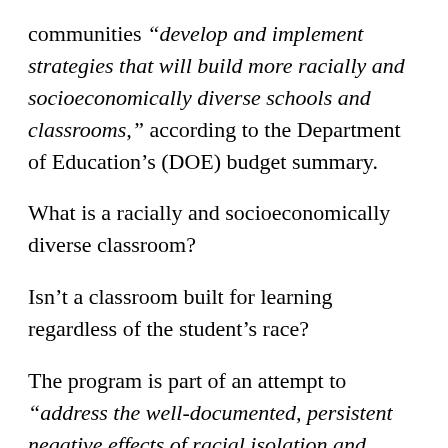communities “develop and implement strategies that will build more racially and socioeconomically diverse schools and classrooms,” according to the Department of Education’s (DOE) budget summary.
What is a racially and socioeconomically diverse classroom?
Isn’t a classroom built for learning regardless of the student’s race?
The program is part of an attempt to “address the well-documented, persistent negative effects of racial isolation and concentrated poverty” through “efforts to increase school racial and socioeconomic